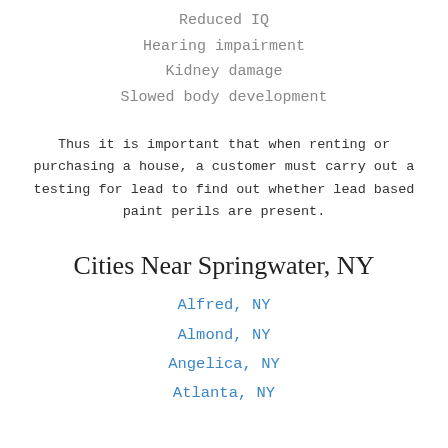Reduced IQ
Hearing impairment
Kidney damage
Slowed body development
Thus it is important that when renting or purchasing a house, a customer must carry out a testing for lead to find out whether lead based paint perils are present.
Cities Near Springwater, NY
Alfred, NY
Almond, NY
Angelica, NY
Atlanta, NY